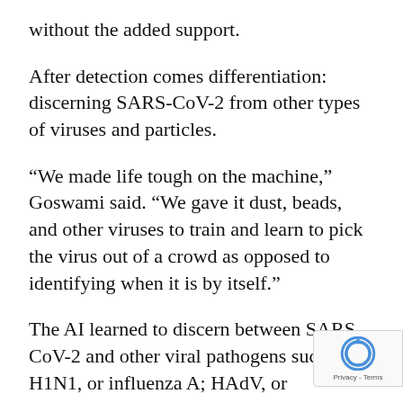without the added support.
After detection comes differentiation: discerning SARS-CoV-2 from other types of viruses and particles.
“We made life tough on the machine,” Goswami said. “We gave it dust, beads, and other viruses to train and learn to pick the virus out of a crowd as opposed to identifying when it is by itself.”
The AI learned to discern between SARS-CoV-2 and other viral pathogens such as H1N1, or influenza A; HAdV, or adenovirus; and ZIKV, or Zika virus. The preclinical trial was highly successful, resulting in a 96% success rate for SARS-CoV-2 detection and classification...
[Figure (logo): reCAPTCHA badge with Privacy - Terms label]